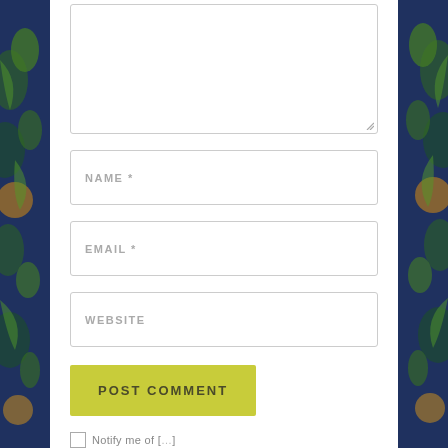[Figure (screenshot): Comment form with textarea, NAME, EMAIL, WEBSITE input fields, and a POST COMMENT button on a white panel over a decorative botanical background.]
NAME *
EMAIL *
WEBSITE
POST COMMENT
Notify me of [truncated]